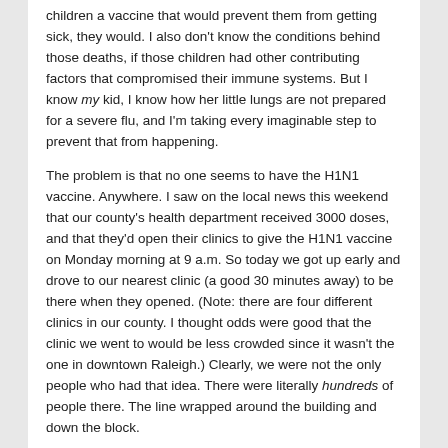children a vaccine that would prevent them from getting sick, they would. I also don't know the conditions behind those deaths, if those children had other contributing factors that compromised their immune systems. But I know my kid, I know how her little lungs are not prepared for a severe flu, and I'm taking every imaginable step to prevent that from happening.
The problem is that no one seems to have the H1N1 vaccine. Anywhere. I saw on the local news this weekend that our county's health department received 3000 doses, and that they'd open their clinics to give the H1N1 vaccine on Monday morning at 9 a.m. So today we got up early and drove to our nearest clinic (a good 30 minutes away) to be there when they opened. (Note: there are four different clinics in our county. I thought odds were good that the clinic we went to would be less crowded since it wasn't the one in downtown Raleigh.) Clearly, we were not the only people who had that idea. There were literally hundreds of people there. The line wrapped around the building and down the block.